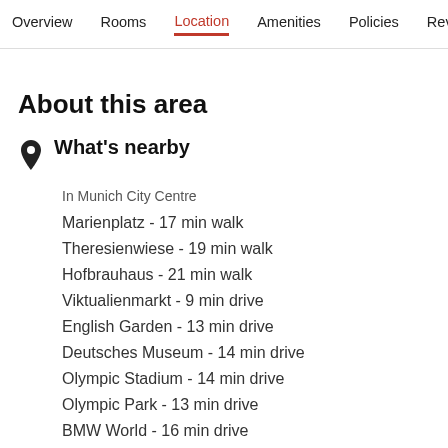Overview  Rooms  Location  Amenities  Policies  Reviews
About this area
What's nearby
In Munich City Centre
Marienplatz - 17 min walk
Theresienwiese - 19 min walk
Hofbrauhaus - 21 min walk
Viktualienmarkt - 9 min drive
English Garden - 13 min drive
Deutsches Museum - 14 min drive
Olympic Stadium - 14 min drive
Olympic Park - 13 min drive
BMW World - 16 min drive
Nymphenburg Palace - 22 min drive